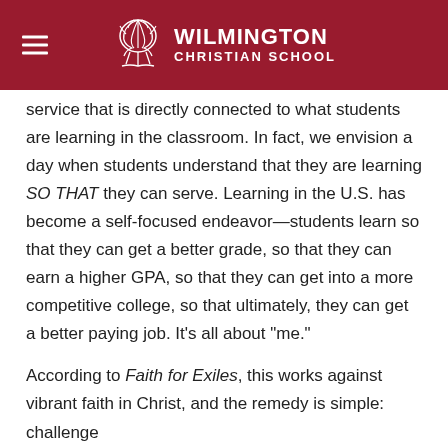WILMINGTON CHRISTIAN SCHOOL
service that is directly connected to what students are learning in the classroom. In fact, we envision a day when students understand that they are learning SO THAT they can serve. Learning in the U.S. has become a self-focused endeavor—students learn so that they can get a better grade, so that they can earn a higher GPA, so that they can get into a more competitive college, so that ultimately, they can get a better paying job. It's all about "me."
According to Faith for Exiles, this works against vibrant faith in Christ, and the remedy is simple: challenge